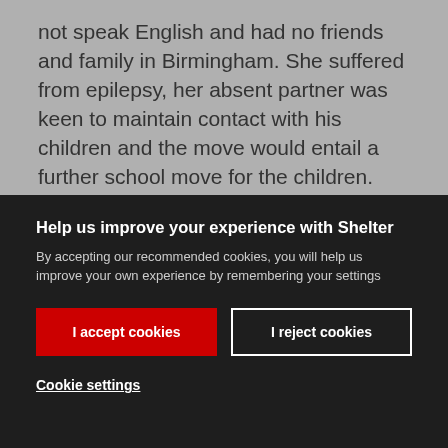not speak English and had no friends and family in Birmingham. She suffered from epilepsy, her absent partner was keen to maintain contact with his children and the move would entail a further school move for the children. Although the basis of the placement was temporary, the local authority knew that it would be for a far longer period. There was no
Help us improve your experience with Shelter
By accepting our recommended cookies, you will help us improve your own experience by remembering your settings
I accept cookies
I reject cookies
Cookie settings